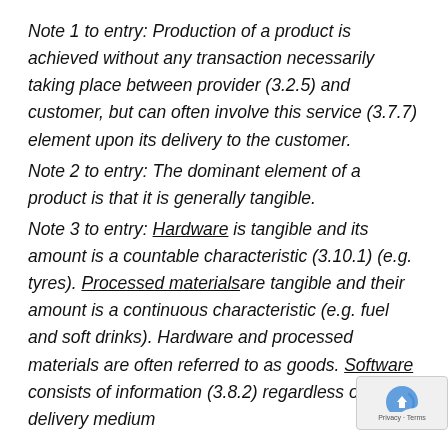Note 1 to entry: Production of a product is achieved without any transaction necessarily taking place between provider (3.2.5) and customer, but can often involve this service (3.7.7) element upon its delivery to the customer.
Note 2 to entry: The dominant element of a product is that it is generally tangible.
Note 3 to entry: Hardware is tangible and its amount is a countable characteristic (3.10.1) (e.g. tyres). Processed materials are tangible and their amount is a continuous characteristic (e.g. fuel and soft drinks). Hardware and processed materials are often referred to as goods. Software consists of information (3.8.2) regardless of delivery medium...